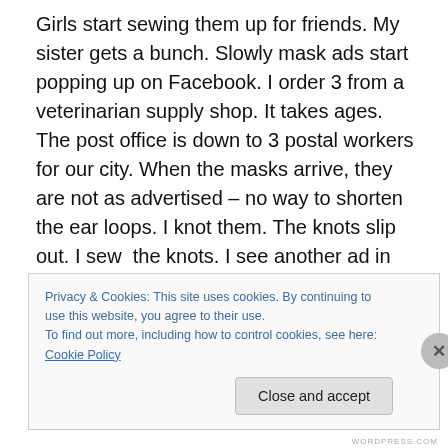Girls start sewing them up for friends. My sister gets a bunch. Slowly mask ads start popping up on Facebook. I order 3 from a veterinarian supply shop. It takes ages. The post office is down to 3 postal workers for our city. When the masks arrive, they are not as advertised – no way to shorten the ear loops. I knot them. The knots slip out. I sew  the knots. I see another ad in late June with devices to shorten the loops. I order 4. They come in a few days and they do actually shorten.
In case you are reading this in the future – and believe me
Privacy & Cookies: This site uses cookies. By continuing to use this website, you agree to their use.
To find out more, including how to control cookies, see here: Cookie Policy
Close and accept